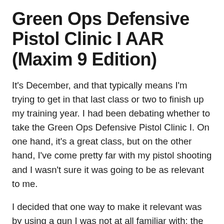Green Ops Defensive Pistol Clinic I AAR (Maxim 9 Edition)
It's December, and that typically means I'm trying to get in that last class or two to finish up my training year. I had been debating whether to take the Green Ops Defensive Pistol Clinic I. On one hand, it's a great class, but on the other hand, I've come pretty far with my pistol shooting and I wasn't sure it was going to be as relevant to me.
I decided that one way to make it relevant was by using a gun I was not at all familiar with: the Silencerco Maxim 9. The Maxim 9 is an integrally suppressed, roller-delayed 9mm pistol, and I wanted to see if it was really up for some harder use… or if it was just a range toy. Read on for my impressions of both the class and the gun.